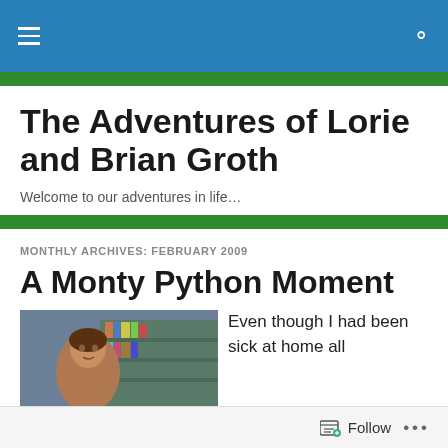Navigation bar with hamburger menu and search icon
The Adventures of Lorie and Brian Groth
Welcome to our adventures in life…
MONTHLY ARCHIVES: FEBRUARY 2009
A Monty Python Moment
[Figure (photo): Photo of a woman in what appears to be a store or library setting]
Even though I had been sick at home all
Follow